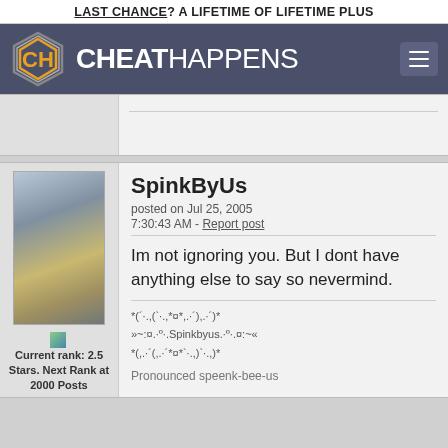LAST CHANCE? A LIFETIME OF LIFETIME PLUS
[Figure (logo): CheatHappens website logo with hexagon CH icon and navigation bar]
SpinkByUs
posted on Jul 25, 2005
7:30:43 AM - Report post

Im not ignoring you. But I dont have anything else to say so nevermind.

*(´·.,(`·.,*¤*,.·´),.·´)*
»~:¤.·º·.Spinkbyus.·º·.¤:~«
*(,.·´(,.·´*¤*`·.,)`·.,)*

Pronounced speenk-bee-us
Current rank: 2.5 Stars. Next Rank at 2000 Posts